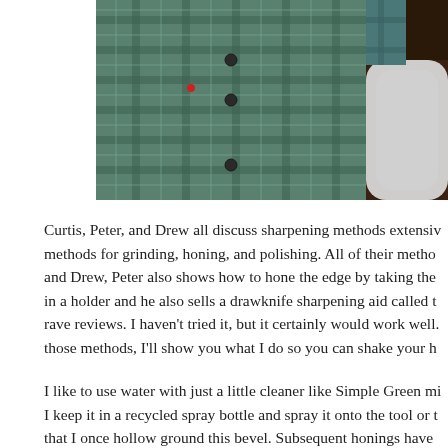[Figure (photo): Photo of a person wearing a green/teal plaid flannel shirt with buttons, partially cropped, with a white object visible at the right edge.]
Curtis, Peter, and Drew all discuss sharpening methods extensively, methods for grinding, honing, and polishing. All of their methods and Drew, Peter also shows how to hone the edge by taking the in a holder and he also sells a drawknife sharpening aid called the rave reviews. I haven't tried it, but it certainly would work well. those methods, I'll show you what I do so you can shake your h
I like to use water with just a little cleaner like Simple Green mi I keep it in a recycled spray bottle and spray it onto the tool or t that I once hollow ground this bevel. Subsequent honings have